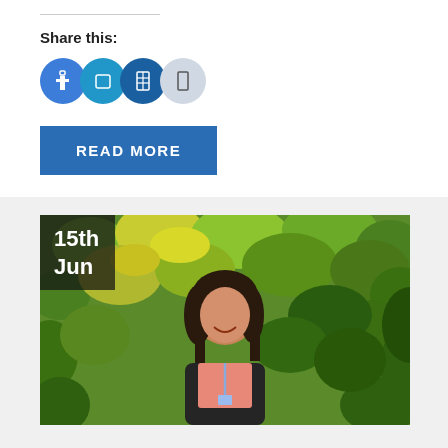Share this:
[Figure (illustration): Four circular social share buttons: Facebook (dark blue), Twitter (medium blue), LinkedIn (navy blue), and a light grey 'more' button with share icon.]
READ MORE
[Figure (photo): A young woman smiling, standing in front of a leafy green and yellow background, wearing a pink top and dark jacket with a lanyard. A date overlay in the top-left corner reads '15th Jun'.]